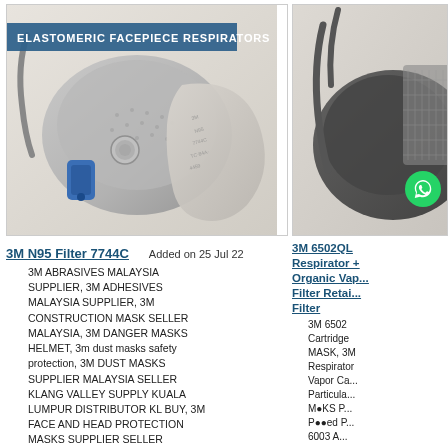[Figure (photo): Photo of a 3M elastomeric facepiece respirator disassembled showing the mask body and filter, with a blue banner overlay reading 'ELASTOMERIC FACEPIECE RESPIRATORS']
3M N95 Filter 7744C
Added on 25 Jul 22
3M ABRASIVES MALAYSIA SUPPLIER, 3M ADHESIVES MALAYSIA SUPPLIER, 3M CONSTRUCTION MASK SELLER MALAYSIA, 3M DANGER MASKS HELMET, 3m dust masks safety protection, 3M DUST MASKS SUPPLIER MALAYSIA SELLER KLANG VALLEY SUPPLY KUALA LUMPUR DISTRIBUTOR KL BUY, 3M FACE AND HEAD PROTECTION MASKS SUPPLIER SELLER MALAYSIA KLANG VALLEY KUALA
[Figure (photo): Partial photo of a 3M 6502QL elastomeric respirator in dark color with straps visible]
3M 6502QL Respirator + Organic Vapor Filter Retainer Filter
3M 6502 Cartridge MASK, 3M Respirator Vapor Cartridge Particulate Masks P100 6003 A...